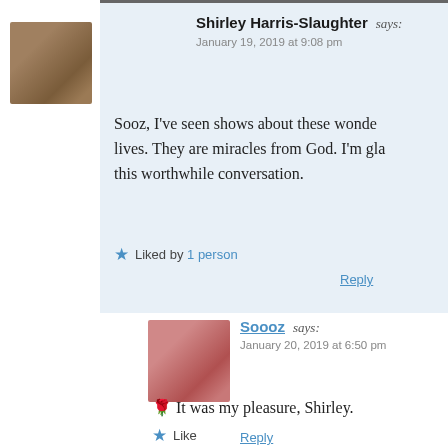Shirley Harris-Slaughter says: January 19, 2019 at 9:08 pm
Sooz, I've seen shows about these wonde... lives. They are miracles from God. I'm gla... this worthwhile conversation.
Liked by 1 person
Reply
Soooz says: January 20, 2019 at 6:50 pm
🌹 It was my pleasure, Shirley.
Like
Reply